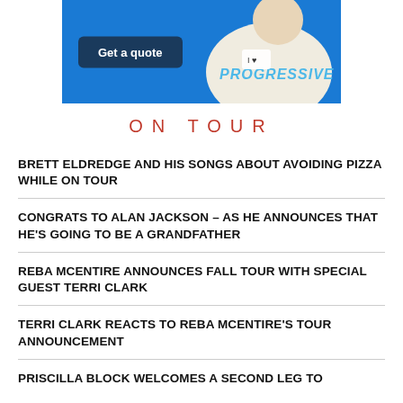[Figure (photo): Progressive insurance advertisement banner with blue background, 'Get a quote' button, and person wearing a Progressive shirt]
ON TOUR
BRETT ELDREDGE AND HIS SONGS ABOUT AVOIDING PIZZA WHILE ON TOUR
CONGRATS TO ALAN JACKSON – AS HE ANNOUNCES THAT HE'S GOING TO BE A GRANDFATHER
REBA MCENTIRE ANNOUNCES FALL TOUR WITH SPECIAL GUEST TERRI CLARK
TERRI CLARK REACTS TO REBA MCENTIRE'S TOUR ANNOUNCEMENT
PRISCILLA BLOCK WELCOMES A SECOND LEG TO